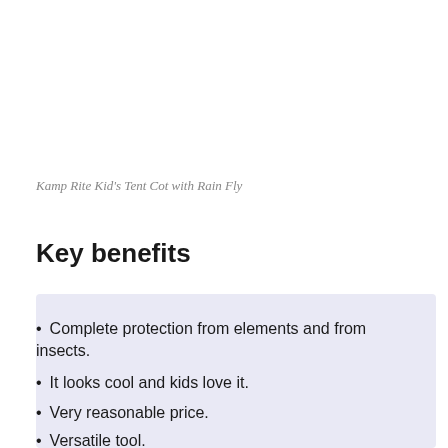Kamp Rite Kid's Tent Cot with Rain Fly
Key benefits
Complete protection from elements and from insects.
It looks cool and kids love it.
Very reasonable price.
Versatile tool.